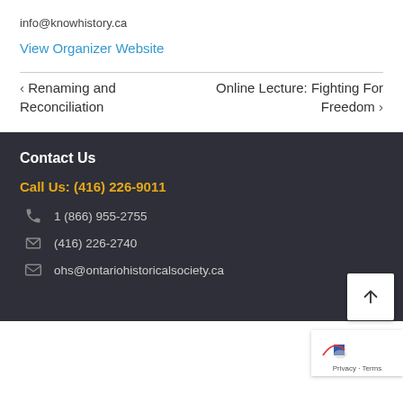info@knowhistory.ca
View Organizer Website
< Renaming and Reconciliation
Online Lecture: Fighting For Freedom >
Contact Us
Call Us: (416) 226-9011
1 (866) 955-2755
(416) 226-2740
ohs@ontariohistoricalsociety.ca
Privacy · Terms